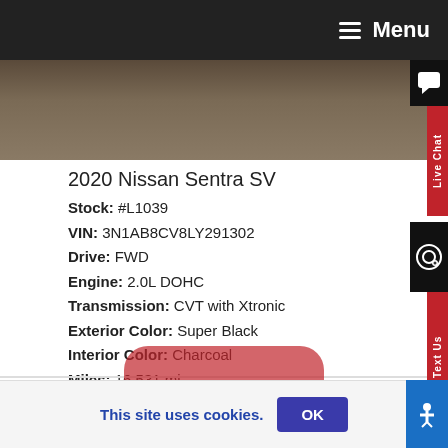Menu
[Figure (photo): Partial view of a car roof/hood in dark brownish color]
2020 Nissan Sentra SV
Stock: #L1039
VIN: 3N1AB8CV8LY291302
Drive: FWD
Engine: 2.0L DOHC
Transmission: CVT with Xtronic
Exterior Color: Super Black
Interior Color: Charcoal
Miles: 16,531 mi
Sale Price: $26,83...
Buy@Home
This site uses cookies.